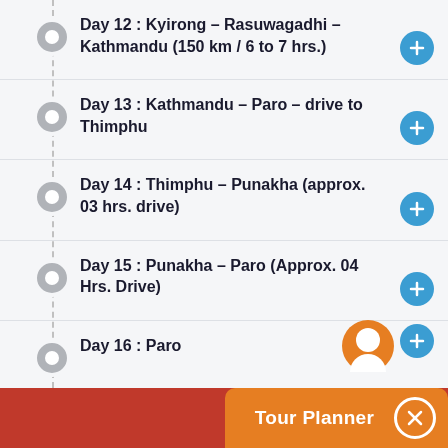Day 12 : Kyirong – Rasuwagadhi – Kathmandu (150 km / 6 to 7 hrs.)
Day 13 : Kathmandu – Paro – drive to Thimphu
Day 14 : Thimphu – Punakha (approx. 03 hrs. drive)
Day 15 : Punakha – Paro (Approx. 04 Hrs. Drive)
Day 16 : Paro
Tour Planner